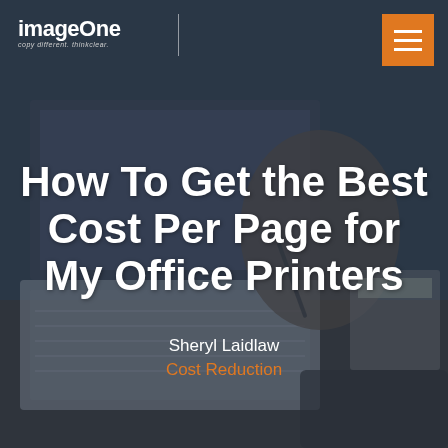[Figure (photo): Dark office background photo showing a person's hand holding a pen over a laptop keyboard with financial documents and a calculator on a desk, dimmed and overlaid with dark blue-grey tones.]
imageOne
How To Get the Best Cost Per Page for My Office Printers
Sheryl Laidlaw
Cost Reduction